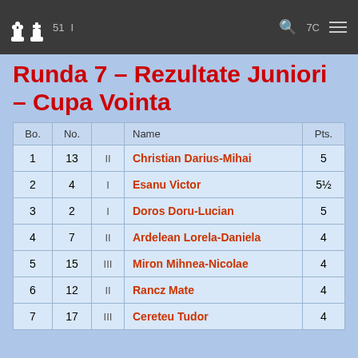Chess website header with logo and navigation icons
Runda 7 – Rezultate Juniori – Cupa Vointa
| Bo. | No. |  | Name | Pts. |
| --- | --- | --- | --- | --- |
| 1 | 13 | II | Christian Darius-Mihai | 5 |
| 2 | 4 | I | Esanu Victor | 5½ |
| 3 | 2 | I | Doros Doru-Lucian | 5 |
| 4 | 7 | II | Ardelean Lorela-Daniela | 4 |
| 5 | 15 | III | Miron Mihnea-Nicolae | 4 |
| 6 | 12 | II | Rancz Mate | 4 |
| 7 | 17 | III | Cereteu Tudor | 4 |